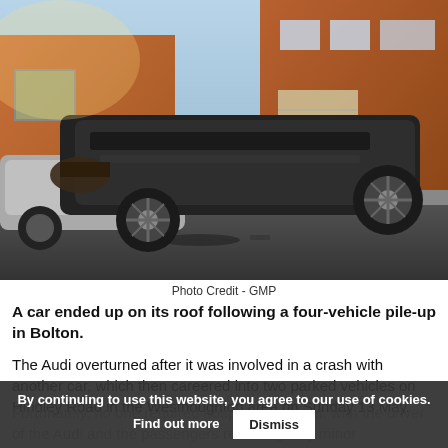[Figure (photo): A dark-colored car overturned on its roof in a residential street, with other damaged vehicles visible nearby and brick houses in the background.]
Photo Credit - GMP
A car ended up on its roof following a four-vehicle pile-up in Bolton.
The Audi overturned after it was involved in a crash with another car, which then careered into two parked vehicles on Hindley Road in the Westhoughton area on Sunday 13 May. Fortunately, no one required hospital treatment, with the driver of the Audi and the passengers receiving only minor
By continuing to use this website, you agree to our use of cookies. Find out more   Dismiss